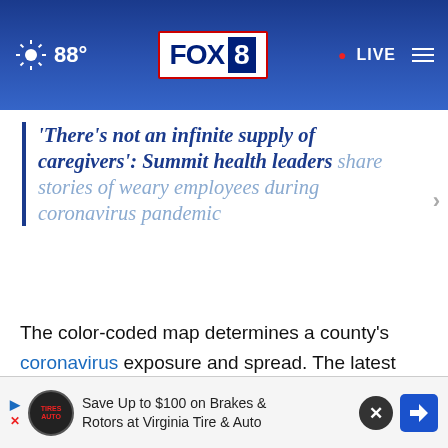88° FOX 8 • LIVE
'There’s not an infinite supply of caregivers': Summit health leaders share stories of weary employees during coronavirus pandemic
The color-coded map determines a county’s coronavirus exposure and spread. The latest ranking was released during Ohio Gov. Mike DeWine’s news conference on Thursday.
“The good news is that we have no purple c…atch-list co…ng significa…tly throughout this state,” DeWine said.
[Figure (screenshot): Advertisement banner: Save Up to $100 on Brakes & Rotors at Virginia Tire & Auto]